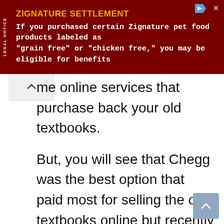[Figure (other): Advertisement banner for Zignature Settlement legal notice with dark red background. Title: ZIGNATURE SETTLEMENT. Body: If you purchased certain Zignature pet food products labeled as "grain free" or "chicken free," you may be eligible for benefits]
me online services that purchase back your old textbooks.
But, you will see that Chegg was the best option that paid most for selling the old textbooks online but recently the buy or rent services are stopped at Chegg.
You can use the GoTextbooks service that also does the same work buying